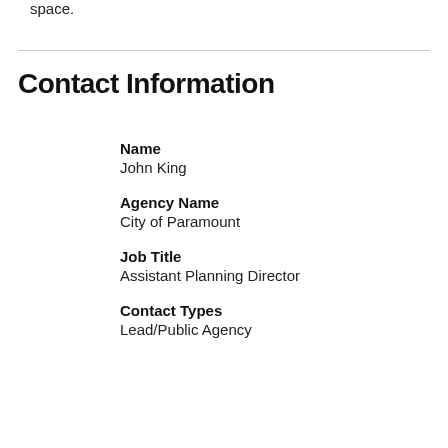space.
Contact Information
Name
John King
Agency Name
City of Paramount
Job Title
Assistant Planning Director
Contact Types
Lead/Public Agency